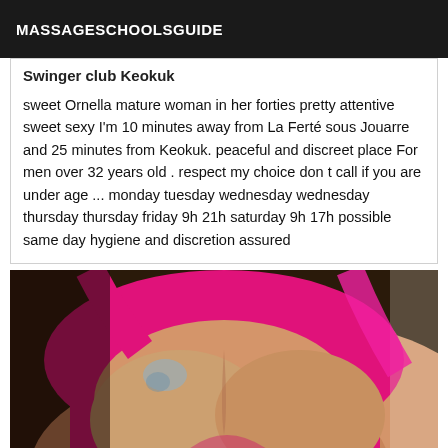MASSAGESCHOOLSGUIDE
Swinger club Keokuk
sweet Ornella mature woman in her forties pretty attentive sweet sexy I'm 10 minutes away from La Ferté sous Jouarre and 25 minutes from Keokuk. peaceful and discreet place For men over 32 years old . respect my choice don t call if you are under age ... monday tuesday wednesday wednesday thursday thursday friday 9h 21h saturday 9h 17h possible same day hygiene and discretion assured
[Figure (photo): Close-up photo of a woman wearing a bright pink/magenta top, showing décolletage area with visible tattoo near shoulder.]